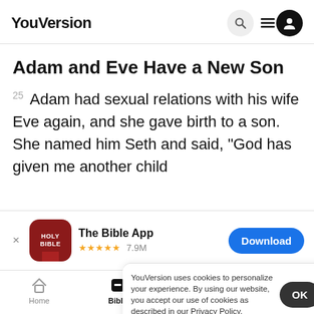YouVersion
Adam and Eve Have a New Son
25 Adam had sexual relations with his wife Eve again, and she gave birth to a son. She named him Seth and said, “God has given me another child
Enosh.
LORD.
[Figure (screenshot): App store banner for The Bible App with Holy Bible icon, 5 stars, 7.9M ratings, and Download button]
YouVersion uses cookies to personalize your experience. By using our website, you accept our use of cookies as described in our Privacy Policy.
Home  Bible  Plans  Videos